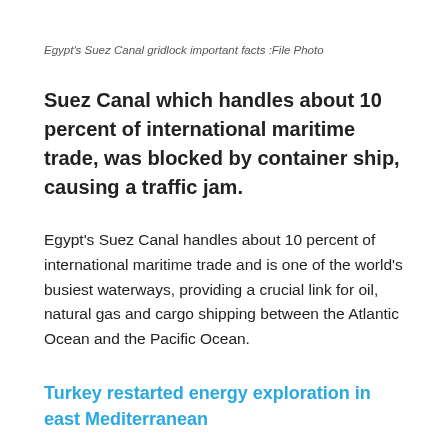Egypt's Suez Canal gridlock important facts :File Photo
Suez Canal which handles about 10 percent of international maritime trade, was blocked by container ship, causing a traffic jam.
Egypt's Suez Canal handles about 10 percent of international maritime trade and is one of the world's busiest waterways, providing a crucial link for oil, natural gas and cargo shipping between the Atlantic Ocean and the Pacific Ocean.
Turkey restarted energy exploration in east Mediterranean
When opened more than 150 years ago, the canal was 164km (102 miles) long and eight metres (26 feet) deep, but